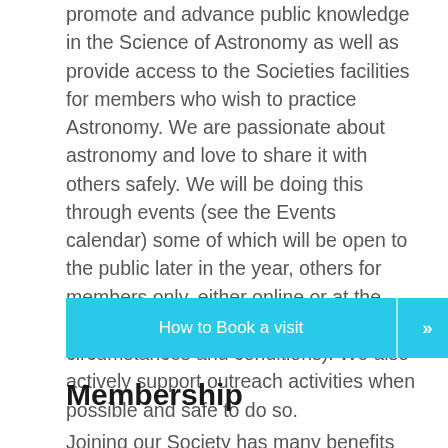promote and advance public knowledge in the Science of Astronomy as well as provide access to the Societies facilities for members who wish to practice Astronomy. We are passionate about astronomy and love to share it with others safely. We will be doing this through events (see the Events calendar) some of which will be open to the public later in the year, others for members only, either online or at the observatory (depending on circumstances and conditions). We also actively support outreach activities when possible and safe to do so.
[Figure (other): Cyan button with text 'How to Book a visit' and a double-arrow icon on the right]
Membership
Joining our Society has many benefits including